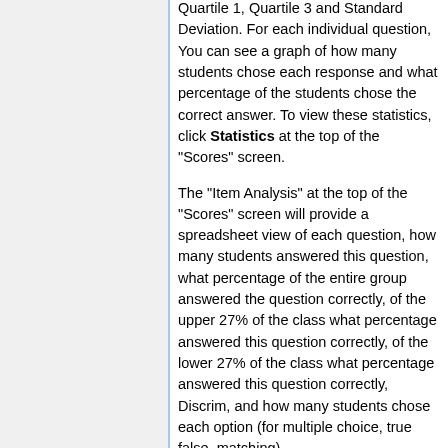Quartile 1, Quartile 3 and Standard Deviation. For each individual question, You can see a graph of how many students chose each response and what percentage of the students chose the correct answer. To view these statistics, click Statistics at the top of the "Scores" screen.
The "Item Analysis" at the top of the "Scores" screen will provide a spreadsheet view of each question, how many students answered this question, what percentage of the entire group answered the question correctly, of the upper 27% of the class what percentage answered this question correctly, of the lower 27% of the class what percentage answered this question correctly, Discrim, and how many students chose each option (for multiple choice, true false, matching).
NOTE: If any Part in your assessment is pulling questions randomly from a Question Pool, there will not be statistics on those questions.